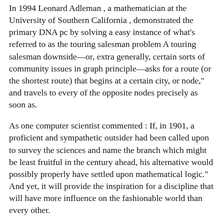In 1994 Leonard Adleman , a mathematician at the University of Southern California , demonstrated the primary DNA pc by solving a easy instance of what's referred to as the touring salesman problem A touring salesman downside—or, extra generally, certain sorts of community issues in graph principle—asks for a route (or the shortest route) that begins at a certain city, or node," and travels to every of the opposite nodes precisely as soon as.
As one computer scientist commented : If, in 1901, a proficient and sympathetic outsider had been called upon to survey the sciences and name the branch which might be least fruitful in the century ahead, his alternative would possibly properly have settled upon mathematical logic." And yet, it will provide the inspiration for a discipline that will have more influence on the fashionable world than every other.
The design of the following treatise is to analyze the fundamental legal guidelines of these operations of the mind by which reasoning is performed; to give expression to them